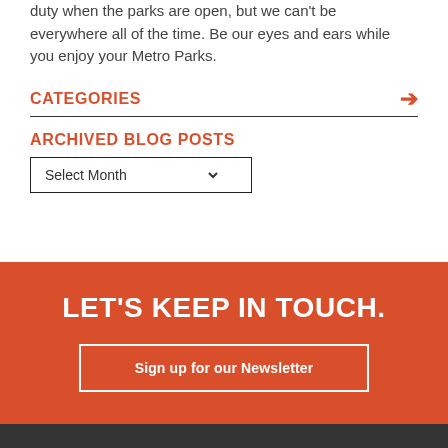duty when the parks are open, but we can't be everywhere all of the time. Be our eyes and ears while you enjoy your Metro Parks.
CATEGORIES
ARCHIVED BLOG POSTS
Select Month
LET'S KEEP IN TOUCH.
Sign up for our Newsletter